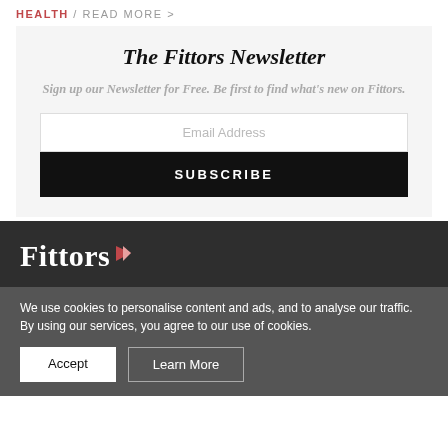HEALTH / READ MORE >
The Fittors Newsletter
Sign up our Newsletter for Free. Be first to find what's new on Fittors.
Email Address
SUBSCRIBE
[Figure (logo): Fittors logo with triangular arrow mark in red/pink]
We use cookies to personalise content and ads, and to analyse our traffic. By using our services, you agree to our use of cookies.
Accept
Learn More